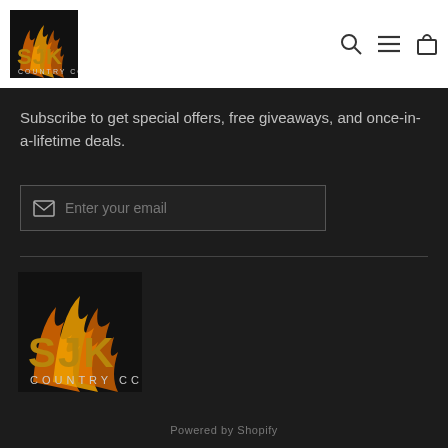[Figure (logo): SJK Country CC logo — text letters SJK with flames behind them and COUNTRY CC below, dark background]
[Figure (other): Navigation icons: search (magnifying glass), menu (hamburger), cart (bag)]
Subscribe to get special offers, free giveaways, and once-in-a-lifetime deals.
[Figure (other): Email input field with envelope icon and placeholder text 'Enter your email']
[Figure (logo): SJK Country CC larger logo — letters SJK with flames and COUNTRY CC text below, on dark background]
Powered by Shopify